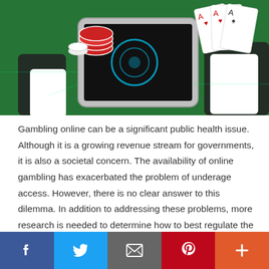[Figure (photo): Person in business suit holding playing cards (aces) in one hand and poker chips near a tablet device on a green surface — online gambling concept image]
Gambling online can be a significant public health issue. Although it is a growing revenue stream for governments, it is also a societal concern. The availability of online gambling has exacerbated the problem of underage access. However, there is no clear answer to this dilemma. In addition to addressing these problems, more research is needed to determine how to best regulate the sites that provide the most attractive
[Figure (infographic): Social media share bar with Facebook, Twitter, Email, Pinterest, and More (+) buttons]